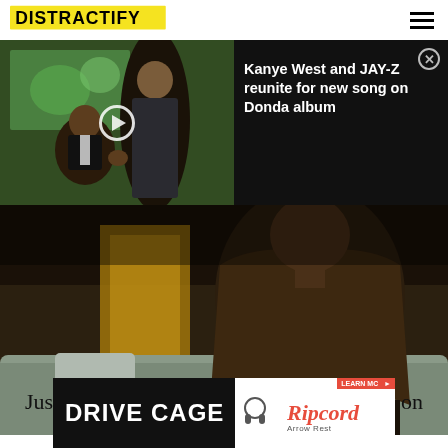DISTRACTIFY
[Figure (screenshot): Video thumbnail showing two men at an event, with a play button overlay on the left, and text on dark background on the right reading: Kanye West and JAY-Z reunite for new song on Donda album, with a close button]
[Figure (photo): Hero image of a man in a dark brown blazer and white shirt sitting on a couch in a dimly lit room]
REALITY TV
Justin and Alexis Are Taking Things Slow on 'Married at First Sight...
[Figure (other): Advertisement banner for Drive Cage with Ripcord branding]